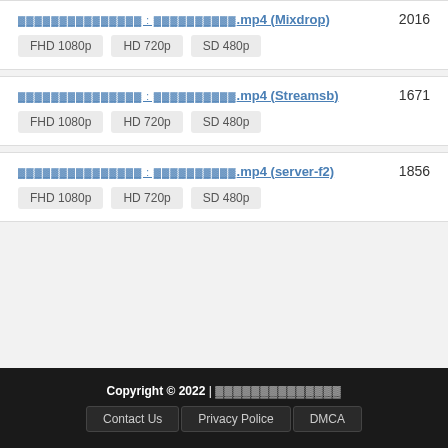xxxxxxxxxxxxxxx : xxxxxxxxxx.mp4 (Mixdrop) 2016 FHD 1080p HD 720p SD 480p
xxxxxxxxxxxxxxx : xxxxxxxxxx.mp4 (Streamsb) 1671 FHD 1080p HD 720p SD 480p
xxxxxxxxxxxxxxx : xxxxxxxxxx.mp4 (server-f2) 1856 FHD 1080p HD 720p SD 480p
Copyright © 2022 | xxxxxxxxxxxxxx Contact Us Privacy Police DMCA